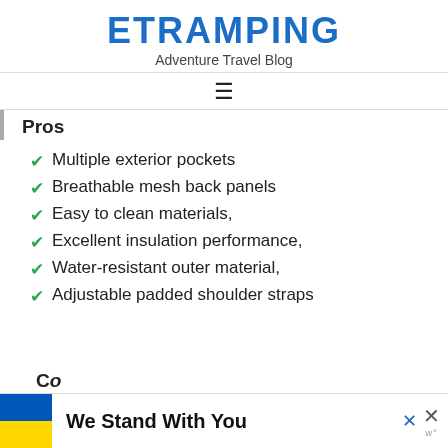ETRAMPING
Adventure Travel Blog
Pros
Multiple exterior pockets
Breathable mesh back panels
Easy to clean materials,
Excellent insulation performance,
Water-resistant outer material,
Adjustable padded shoulder straps
Co
We Stand With You